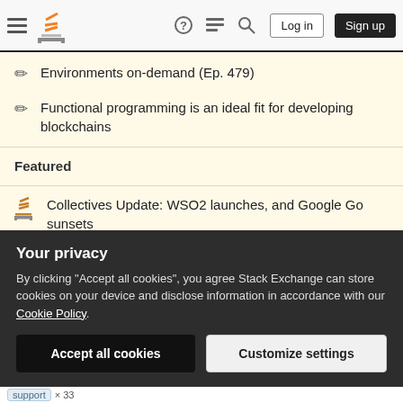Stack Exchange navigation bar with hamburger menu, logo, help, chat, search icons, Log in and Sign up buttons
Environments on-demand (Ep. 479)
Functional programming is an ideal fit for developing blockchains
Featured
Collectives Update: WSO2 launches, and Google Go sunsets
The [option] tag is being burninated
Staging Ground Workflow: Question Lifecycle
Your privacy
By clicking "Accept all cookies", you agree Stack Exchange can store cookies on your device and disclose information in accordance with our Cookie Policy.
Accept all cookies   Customize settings
support × 33